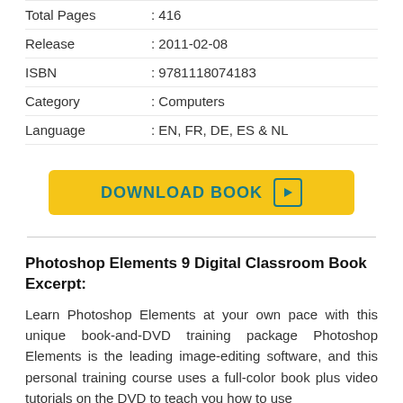| Field | Value |
| --- | --- |
| Total Pages | : 416 |
| Release | : 2011-02-08 |
| ISBN | : 9781118074183 |
| Category | : Computers |
| Language | : EN, FR, DE, ES & NL |
[Figure (other): Yellow download button with text DOWNLOAD BOOK and a play/arrow icon]
Photoshop Elements 9 Digital Classroom Book Excerpt:
Learn Photoshop Elements at your own pace with this unique book-and-DVD training package Photoshop Elements is the leading image-editing software, and this personal training course uses a full-color book plus video tutorials on the DVD to teach you how to use